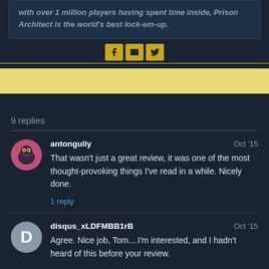with over 1 million players having spent time inside, Prison Architect is the world's best lock-em-up.
[Figure (infographic): Social share buttons: Facebook, email, Twitter icons in gold/yellow color]
[Figure (infographic): Yellow banner/advertisement strip]
9 replies
antongully
Oct '15
That wasn't just a great review, it was one of the most thought-provoking things I've read in a while. Nicely done.
1 reply
disqus_xLDFMBB1rB
Oct '15
Agree. Nice job, Tom....I'm interested, and I hadn't heard of this before your review.